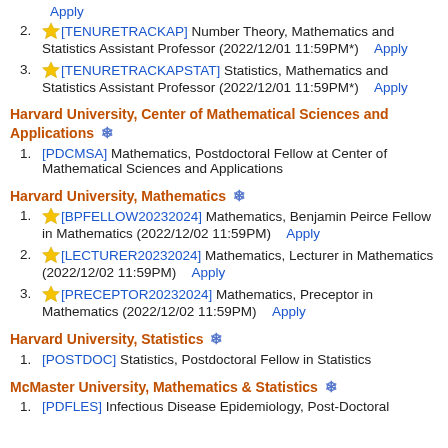Apply
2. ★[TENURETRACKAP] Number Theory, Mathematics and Statistics Assistant Professor (2022/12/01 11:59PM*)   Apply
3. ★[TENURETRACKAPSTAT] Statistics, Mathematics and Statistics Assistant Professor (2022/12/01 11:59PM*)   Apply
Harvard University, Center of Mathematical Sciences and Applications ❄
1. [PDCMSA] Mathematics, Postdoctoral Fellow at Center of Mathematical Sciences and Applications
Harvard University, Mathematics ❄
1. ★[BPFELLOW20232024] Mathematics, Benjamin Peirce Fellow in Mathematics (2022/12/02 11:59PM)   Apply
2. ★[LECTURER20232024] Mathematics, Lecturer in Mathematics (2022/12/02 11:59PM)   Apply
3. ★[PRECEPTOR20232024] Mathematics, Preceptor in Mathematics (2022/12/02 11:59PM)   Apply
Harvard University, Statistics ❄
1. [POSTDOC] Statistics, Postdoctoral Fellow in Statistics
McMaster University, Mathematics & Statistics ❄
1. [PDFLES] Infectious Disease Epidemiology, Post-Doctoral